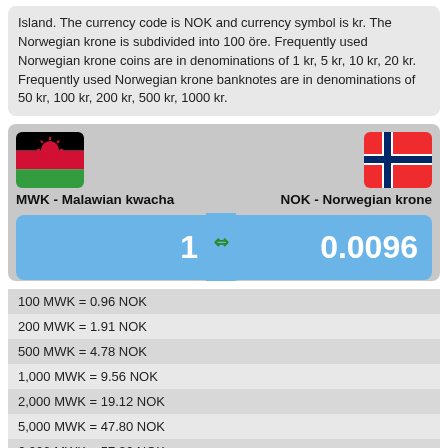Island. The currency code is NOK and currency symbol is kr. The Norwegian krone is subdivided into 100 öre. Frequently used Norwegian krone coins are in denominations of 1 kr, 5 kr, 10 kr, 20 kr. Frequently used Norwegian krone banknotes are in denominations of 50 kr, 100 kr, 200 kr, 500 kr, 1000 kr.
[Figure (infographic): Currency converter widget showing Malawi flag (MWK) on left and Norway flag (NOK) on right, with exchange rate display: 1 MWK = 0.0096 NOK]
| 100 MWK = 0.96 NOK |
| 200 MWK = 1.91 NOK |
| 500 MWK = 4.78 NOK |
| 1,000 MWK = 9.56 NOK |
| 2,000 MWK = 19.12 NOK |
| 5,000 MWK = 47.80 NOK |
| 6,000 MWK = 57.36 NOK |
| 10,000 MWK = 95.61 NOK |
| 20,000 MWK = 191.22 NOK |
| 30,000 MWK = 286.82 NOK |